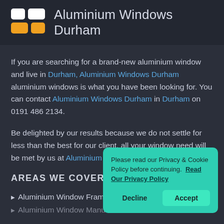Aluminium Windows Durham
If you are searching for a brand-new aluminium window and live in Durham, Aluminium Windows Durham aluminium windows is what you have been looking for. You can contact Aluminium Windows Durham in Durham on 0191 486 2134.
Be delighted by our results because we do not settle for less than the best for our client, all your window need will be met by us at Aluminium Windows Durham.
AREAS WE COVER
Aluminium Window Frames
Aluminium Window Manufacturers